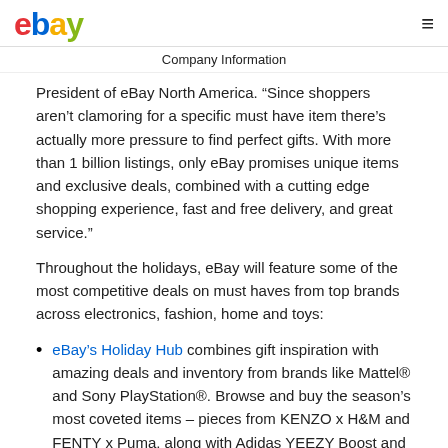ebay Company Information
President of eBay North America. “Since shoppers aren’t clamoring for a specific must have item there’s actually more pressure to find perfect gifts. With more than 1 billion listings, only eBay promises unique items and exclusive deals, combined with a cutting edge shopping experience, fast and free delivery, and great service.”
Throughout the holidays, eBay will feature some of the most competitive deals on must haves from top brands across electronics, fashion, home and toys:
eBay’s Holiday Hub combines gift inspiration with amazing deals and inventory from brands like Mattel® and Sony PlayStation®. Browse and buy the season’s most coveted items – pieces from KENZO x H&M and FENTY x Puma, along with Adidas YEEZY Boost and iRobot Roomba and the